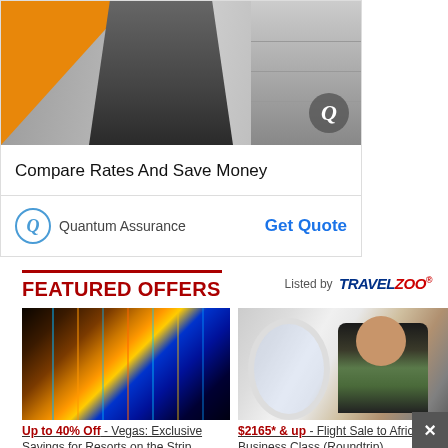[Figure (photo): Advertisement banner showing a man in plaid shirt standing in front of a truck, with orange geometric overlay and Quantum Assurance Q logo watermark]
Compare Rates And Save Money
Quantum Assurance   Get Quote
FEATURED OFFERS
Listed by TRAVELZOO
[Figure (photo): Colorful illuminated Las Vegas strip nighttime scene]
[Figure (photo): Woman smiling on a private jet looking out oval window with tablet]
Up to 40% Off - Vegas: Exclusive Savings for Resorts on the Strip
$2165* & up - Flight Sale to Africa in Business Class (Roundtrip)